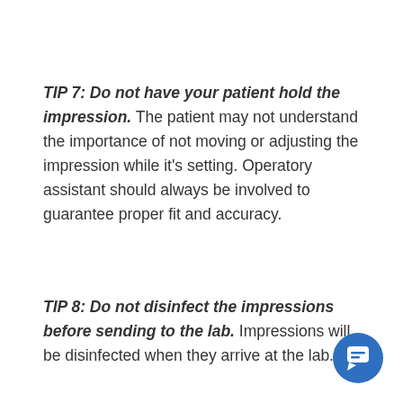TIP 7: Do not have your patient hold the impression. The patient may not understand the importance of not moving or adjusting the impression while it's setting. Operatory assistant should always be involved to guarantee proper fit and accuracy.
TIP 8: Do not disinfect the impressions before sending to the lab. Impressions will be disinfected when they arrive at the lab.